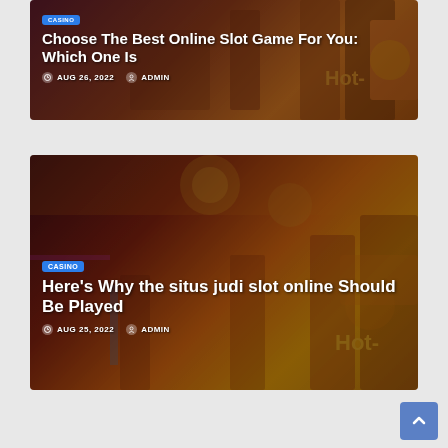[Figure (photo): Casino slot machines background image with dark warm tones, first card]
Choose The Best Online Slot Game For You: Which One Is
AUG 26, 2022  ADMIN
[Figure (photo): Casino interior with golden chandeliers and slot machines, second card]
Here's Why the situs judi slot online Should Be Played
AUG 25, 2022  ADMIN